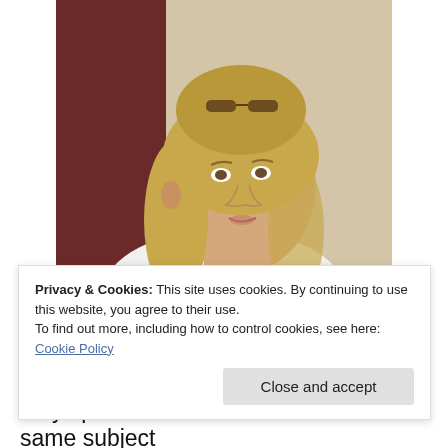[Figure (photo): A middle-aged woman with blonde hair pulled back, sunglasses on her head, wearing a white shirt, photographed from the side/front against a beige and dark red background, mouth slightly open as if speaking.]
Privacy & Cookies: This site uses cookies. By continuing to use this website, you agree to their use.
To find out more, including how to control cookies, see here: Cookie Policy
Close and accept
may speak more than once on the same subject